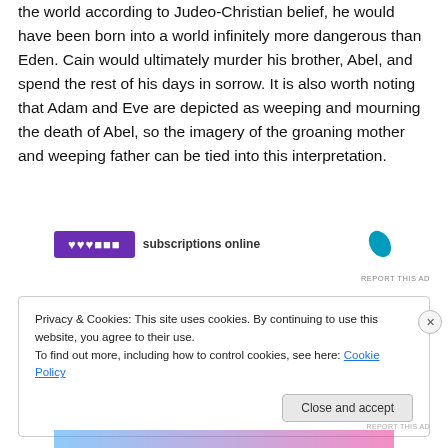the world according to Judeo-Christian belief, he would have been born into a world infinitely more dangerous than Eden. Cain would ultimately murder his brother, Abel, and spend the rest of his days in sorrow. It is also worth noting that Adam and Eve are depicted as weeping and mourning the death of Abel, so the imagery of the groaning mother and weeping father can be tied into this interpretation.
[Figure (other): Advertisement banner with purple logo and 'subscriptions online' text with a teal leaf icon, and 'REPORT THIS AD' label below]
Privacy & Cookies: This site uses cookies. By continuing to use this website, you agree to their use.
To find out more, including how to control cookies, see here: Cookie Policy
Close and accept